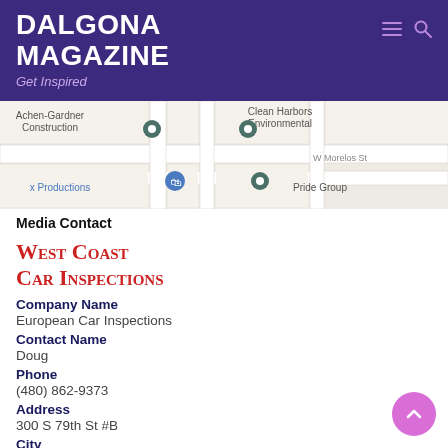DALGONA MAGAZINE
Get Inspired
[Figure (map): Google Maps screenshot showing Achen-Gardner Construction, Clean Harbors Environmental, x Productions, Pride Group businesses and W Morelos St]
Media Contact
West Coast Car Inspections
Company Name
European Car Inspections
Contact Name
Doug
Phone
(480) 862-9373
Address
300 S 79th St #B
City
Chandler
State
AZ